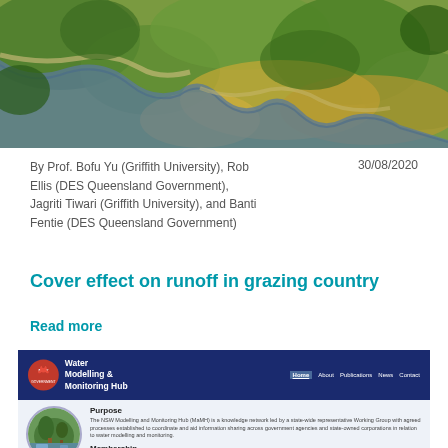[Figure (photo): Aerial photograph of a river winding through green and ochre-coloured bush landscape, showing eroded banks and dense tree cover.]
By Prof. Bofu Yu (Griffith University), Rob Ellis (DES Queensland Government), Jagriti Tiwari (Griffith University), and Banti Fentie (DES Queensland Government)
30/08/2020
Cover effect on runoff in grazing country
Read more
[Figure (screenshot): Screenshot of the NSW Water Modelling & Monitoring Hub website showing its navigation bar with Home, About, Publications, News, Contact links, and a Purpose section with descriptive text and a Membership heading.]